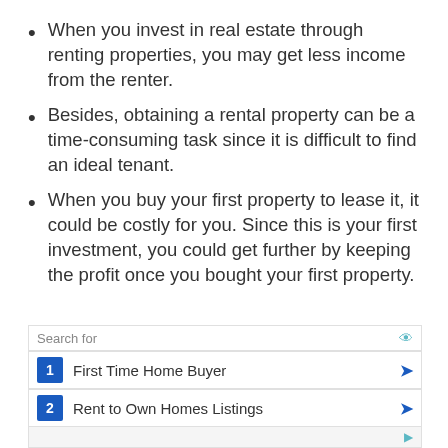When you invest in real estate through renting properties, you may get less income from the renter.
Besides, obtaining a rental property can be a time-consuming task since it is difficult to find an ideal tenant.
When you buy your first property to lease it, it could be costly for you. Since this is your first investment, you could get further by keeping the profit once you bought your first property.
Warning!
[Figure (screenshot): Search ad box with 'Search for' header, two sponsored links: 1. First Time Home Buyer, 2. Rent to Own Homes Listings]